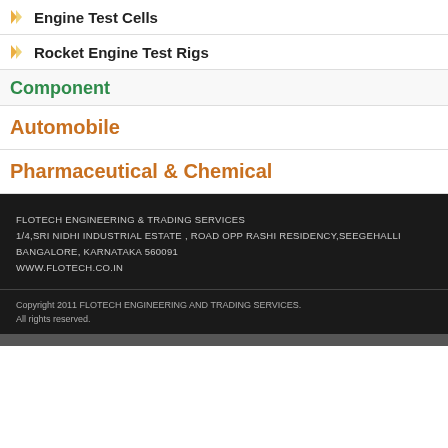Engine Test Cells
Rocket Engine Test Rigs
Component
Automobile
Pharmaceutical & Chemical
FLOTECH ENGINEERING & TRADING SERVICES
1/4,SRI NIDHI INDUSTRIAL ESTATE , ROAD OPP RASHI RESIDENCY,SEEGEHALLI
BANGALORE, KARNATAKA 560091
WWW.FLOTECH.CO.IN
Copyright 2011 FLOTECH ENGINEERING AND TRADING SERVICES.
All rights reserved.